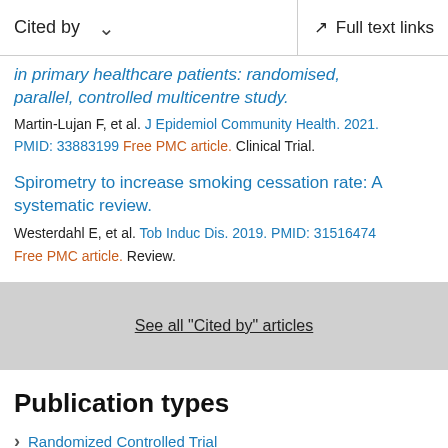Cited by    Full text links
in primary healthcare patients: randomised, parallel, controlled multicentre study.
Martin-Lujan F, et al. J Epidemiol Community Health. 2021.
PMID: 33883199 Free PMC article. Clinical Trial.
Spirometry to increase smoking cessation rate: A systematic review.
Westerdahl E, et al. Tob Induc Dis. 2019. PMID: 31516474
Free PMC article. Review.
See all "Cited by" articles
Publication types
Randomized Controlled Trial
Research Support, Non U.S. Gov't